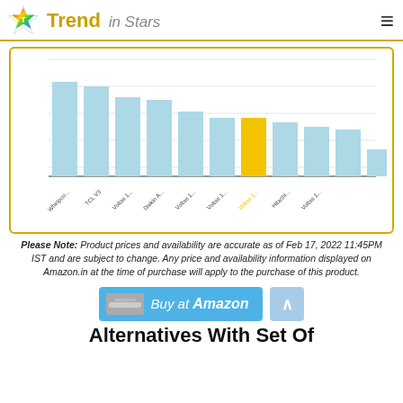Trend in Stars
[Figure (bar-chart): Comparison bar chart]
Please Note: Product prices and availability are accurate as of Feb 17, 2022 11:45PM IST and are subject to change. Any price and availability information displayed on Amazon.in at the time of purchase will apply to the purchase of this product.
[Figure (other): Buy at Amazon button with product image and scroll-to-top arrow button]
Alternatives With Set Of